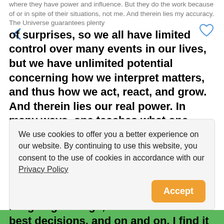where they have power and influence. But they do the work because of or in spite of their situations, not me. And therein lies my accuracy. The Universe guarantees plenty of surprises, so we all have limited control over many events in our lives, but we have unlimited potential concerning how we interpret matters, and thus how we act, react, and grow. And therein lies our real power. In many ways, one teaches what one wants to know and understand. I want to know where and how I'm most empowered, how to deal with life's constant curve balls, what stage in my mental, physical and spiritual evolution I'm going through, how to make the best decisions, and on and on. I find it interesting, and even ironic, that the Universe empowers me to offer other people what I seek to
[Figure (other): Cookie consent banner with text: We use cookies to offer you a better experience on our website. By continuing to use this website, you consent to the use of cookies in accordance with our Privacy Policy. Orange Accept button on the right.]